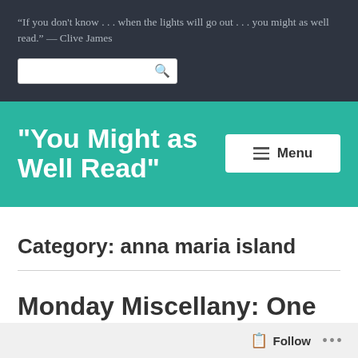“If you don't know . . . when the lights will go out . . . you might as well read.” — Clive James
"You Might as Well Read"
Category: anna maria island
Monday Miscellany: One